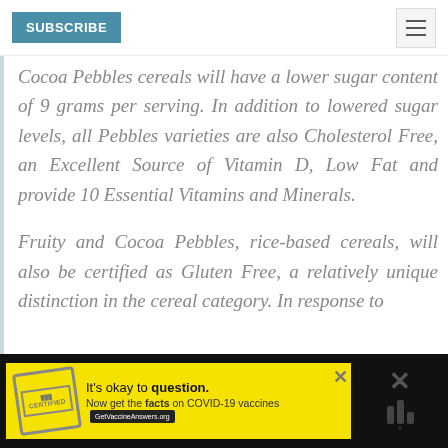SUBSCRIBE
Cocoa Pebbles cereals will have a lower sugar content of 9 grams per serving. In addition to lowered sugar levels, all Pebbles varieties are also Cholesterol Free, an Excellent Source of Vitamin D, Low Fat and provide 10 Essential Vitamins and Minerals.
Fruity and Cocoa Pebbles, rice-based cereals, will also be certified as Gluten Free, a relatively unique distinction in the cereal category. In response to
[Figure (infographic): Yellow advertisement banner for 'It’s okay to question.' COVID-19 vaccines information site GetVaccineAnswers.org, with a stamp icon and close/menu icons on black background.]